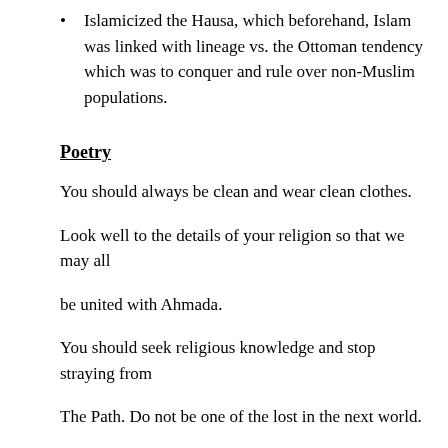Islamicized the Hausa, which beforehand, Islam was linked with lineage vs. the Ottoman tendency which was to conquer and rule over non-Muslim populations.
Poetry
You should always be clean and wear clean clothes.
Look well to the details of your religion so that we may all
be united with Ahmada.
You should seek religious knowledge and stop straying from
The Path. Do not be one of the lost in the next world.
Ahmada.